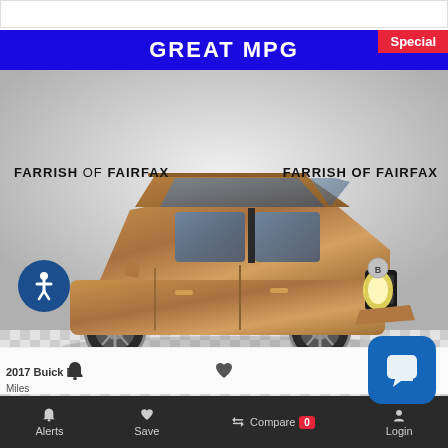[Figure (photo): Screenshot of a car dealership website showing a bronze/gold Buick SUV with 'GREAT MPG' blue banner, 'Special' badge, Farrish of Fairfax watermarks, accessibility icon, and bottom navigation bar with Alerts, Save, Compare, Login options.]
GREAT MPG
Special
FARRISH OF FAIRFAX
Alerts  Save  Compare 0  Login